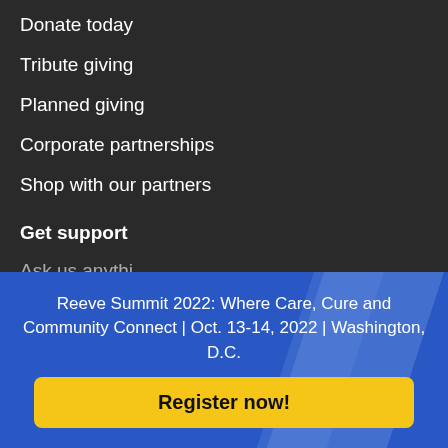Donate today
Tribute giving
Planned giving
Corporate partnerships
Shop with our partners
Get support
Ask us anything
Reeve Summit 2022: Where Care, Cure and Community Connect | Oct. 13-14, 2022 | Washington, D.C.
Register now!